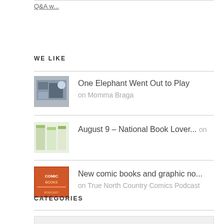Q&A w...
WE LIKE
One Elephant Went Out to Play on Momma Braga
August 9 – National Book Lover... on
New comic books and graphic no... on True North Country Comics Podcast
CATEGORIES